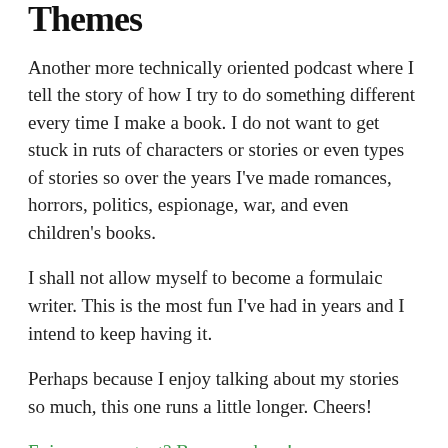Themes
Another more technically oriented podcast where I tell the story of how I try to do something different every time I make a book. I do not want to get stuck in ruts of characters or stories or even types of stories so over the years I've made romances, horrors, politics, espionage, war, and even children's books.
I shall not allow myself to become a formulaic writer. This is the most fun I've had in years and I intend to keep having it.
Perhaps because I enjoy talking about my stories so much, this one runs a little longer. Cheers!
Enjoy my content? Buy me a beer!
* * *